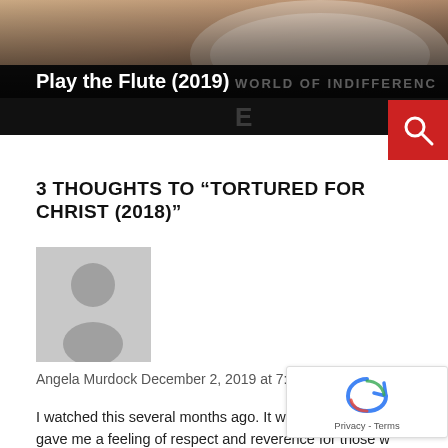[Figure (photo): Header image showing hands holding a book, with dark overlay and text 'Play the Flute (2019)' and 'WORLD OF INDIFFERENCE' partially visible]
[Figure (other): Red search button with magnifying glass icon]
3 THOUGHTS TO “TORTURED FOR CHRIST (2018)”
[Figure (illustration): Default grey user avatar silhouette]
Angela Murdock December 2, 2019 at 7:14 pm
I watched this several months ago. It was hard to wat gave me a feeling of respect and reverence for those w her nif ed be d f th f Ch i t M t